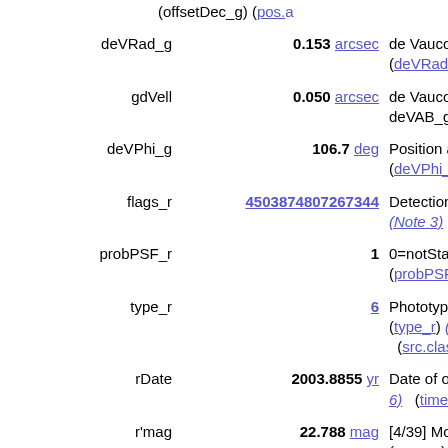(offsetDec_g) (pos.a...
| Name | Value | Description |
| --- | --- | --- |
| deVRad_g | 0.153 arcsec | de Vaucouleurs fit ra... (deVRad_g) (phys.a... |
| gdVell | 0.050 arcsec | de Vaucouleurs fit e... deVAB_g) (src.ellip... |
| deVPhi_g | 106.7 deg | Position angle of dV... (deVPhi_g) (pos.pos... |
| flags_r | 4503874807267344 | Detection flags, r ba... (Note 3) (meta.cod... |
| probPSF_r | 1 | 0=notStar, 1=Star i... (probPSF_r) (src.cla... |
| type_r | 6 | Phototype in r band, (type_r) (Note 1) (src.class.starGala... |
| rDate | 2003.8855 yr | Date of observation ... 6) (time.epoch) |
| r'mag | 22.788 mag | [4/39] Model magni... (= rmag) (Note 5) (phot.mag;em.opt.r... |
| e_r'mag | 0.176 mag | Mean error on r'mag... (stat.error;phot.mag... |
| psfMag_r | 22.843 mag | [4/33] PSF magnitud... (psfMag_r) (phot.m... |